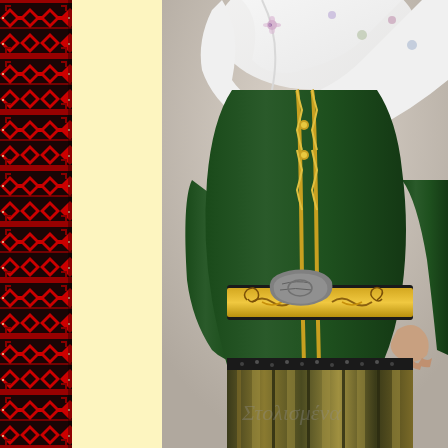[Figure (photo): Left strip: close-up of traditional embroidered textile with red and black geometric pattern on dark background. Middle: plain light yellow/cream colored background panel. Right: photograph of a woman wearing traditional folk costume — dark green velvet dress with gold decorative trim/braid down the front, ornate metal belt buckle with gold scrollwork belt, embroidered white floral headscarf/hijab, and a striped gold-olive skirt visible at the bottom. A watermark reads 'Στολισμένα' (Stolismena) in cursive.]